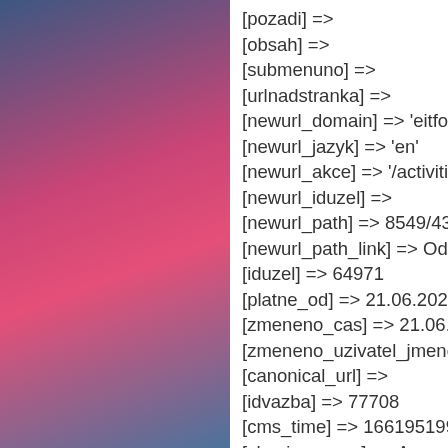[pozadi] =>
[obsah] =>
[submenuno] =>
[urlnadstranka] =>
[newurl_domain] => 'eitfoodhub.vsc
[newurl_jazyk] => 'en'
[newurl_akce] => '/activities-2022/we
[newurl_iduzel] =>
[newurl_path] => 8549/43991/43992
[newurl_path_link] => Odkaz na new
[iduzel] => 64971
[platne_od] => 21.06.2022 09:14:00
[zmeneno_cas] => 21.06.2022 09:14:
[zmeneno_uzivatel_jmeno] => Edita
[canonical_url] =>
[idvazba] => 77708
[cms_time] => 1661951990
[skupina_www] => Array
    (
    )

[slovnik] => Array
    (
    )